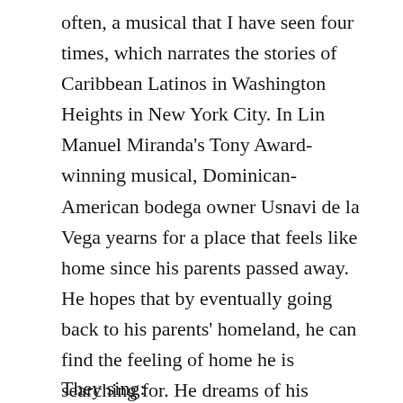often, a musical that I have seen four times, which narrates the stories of Caribbean Latinos in Washington Heights in New York City. In Lin Manuel Miranda's Tony Award-winning musical, Dominican-American bodega owner Usnavi de la Vega yearns for a place that feels like home since his parents passed away. He hopes that by eventually going back to his parents' homeland, he can find the feeling of home he is searching for. He dreams of his Cuban neighbor, the abuela of the block—Abuela Claudia—of returning to the Caribbean.
They sing: